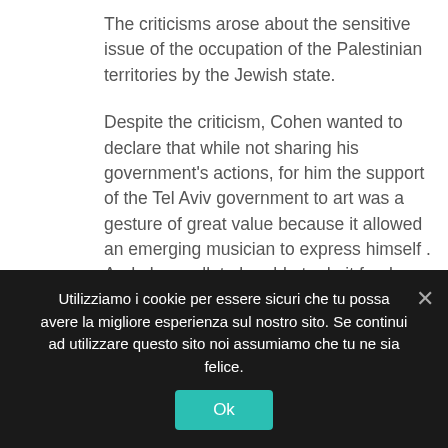The criticisms arose about the sensitive issue of the occupation of the Palestinian territories by the Jewish state.
Despite the criticism, Cohen wanted to declare that while not sharing his government's actions, for him the support of the Tel Aviv government to art was a gesture of great value because it allowed an emerging musician to express himself . And above all, to be able to do it freely.
Since Cohen chose the album Seven Seas in combination with this magnificent Casavecchia, we were also forced to choose a work of art that spoke of roots, but also of the strong link with the water that
Utilizziamo i cookie per essere sicuri che tu possa avere la migliore esperienza sul nostro sito. Se continui ad utilizzare questo sito noi assumiamo che tu ne sia felice.
Ok